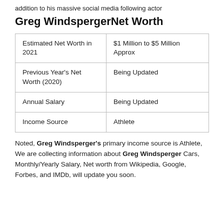addition to his massive social media following actor
Greg WindspergerNet Worth
| Estimated Net Worth in 2021 | $1 Million to $5 Million Approx |
| Previous Year’s Net Worth (2020) | Being Updated |
| Annual Salary | Being Updated |
| Income Source | Athlete |
Noted, Greg Windsperger’s primary income source is Athlete, We are collecting information about Greg Windsperger Cars, Monthly/Yearly Salary, Net worth from Wikipedia, Google, Forbes, and IMDb, will update you soon.